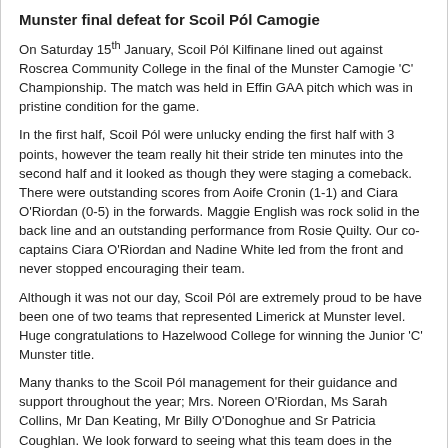Munster final defeat for Scoil Pól Camogie
On Saturday 15th January, Scoil Pól Kilfinane lined out against Roscrea Community College in the final of the Munster Camogie 'C' Championship. The match was held in Effin GAA pitch which was in pristine condition for the game.
In the first half, Scoil Pól were unlucky ending the first half with 3 points, however the team really hit their stride ten minutes into the second half and it looked as though they were staging a comeback. There were outstanding scores from Aoife Cronin (1-1) and Ciara O'Riordan (0-5) in the forwards. Maggie English was rock solid in the back line and an outstanding performance from Rosie Quilty. Our co-captains Ciara O'Riordan and Nadine White led from the front and never stopped encouraging their team.
Although it was not our day, Scoil Pól are extremely proud to be have been one of two teams that represented Limerick at Munster level. Huge congratulations to Hazelwood College for winning the Junior 'C' Munster title.
Many thanks to the Scoil Pól management for their guidance and support throughout the year; Mrs. Noreen O'Riordan, Ms Sarah Collins, Mr Dan Keating, Mr Billy O'Donoghue and Sr Patricia Coughlan. We look forward to seeing what this team does in the future!
Scoil Pól Panel: Niamh O'Donovan, Maggie English, Rosie Quilty, Laura O'Connor, Ellen Meehan, Claire Power, Ciara O'Riordan, Ella O'Sullivan, Aoife McNamara, Áine O'Leary, Lucy